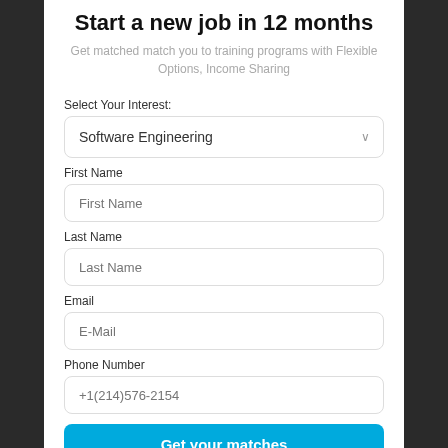Start a new job in 12 months
Get matched match you to training programs with Flexible Options, Income Sharing
Select Your Interest:
Software Engineering
First Name
First Name
Last Name
Last Name
Email
E-Mail
Phone Number
+1(214)576-2154
Get your matches